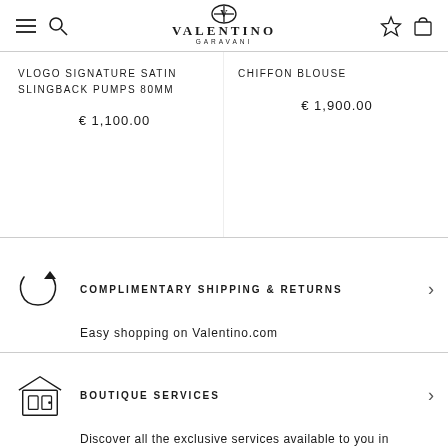VALENTINO GARAVANI
VLOGO SIGNATURE SATIN SLINGBACK PUMPS 80MM
€ 1,100.00
CHIFFON BLOUSE
€ 1,900.00
COMPLIMENTARY SHIPPING & RETURNS
Easy shopping on Valentino.com
BOUTIQUE SERVICES
Discover all the exclusive services available to you in